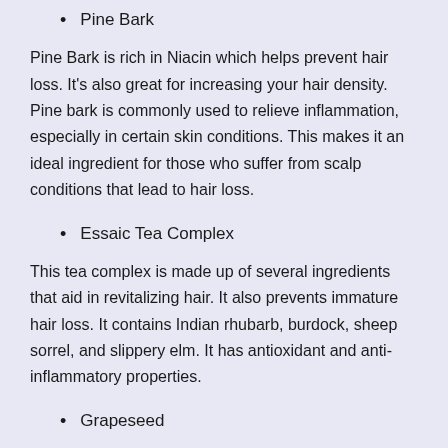Pine Bark
Pine Bark is rich in Niacin which helps prevent hair loss. It's also great for increasing your hair density. Pine bark is commonly used to relieve inflammation, especially in certain skin conditions. This makes it an ideal ingredient for those who suffer from scalp conditions that lead to hair loss.
Essaic Tea Complex
This tea complex is made up of several ingredients that aid in revitalizing hair. It also prevents immature hair loss. It contains Indian rhubarb, burdock, sheep sorrel, and slippery elm. It has antioxidant and anti-inflammatory properties.
Grapeseed
Grapeseed is excellent for restoring the shiny and vibrant appearance of your hair. It helps produce more sebum to moisturize and